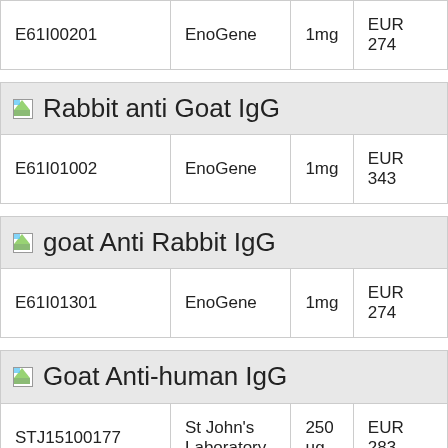| Product ID | Supplier | Size | Price |
| --- | --- | --- | --- |
| E61I00201 | EnoGene | 1mg | EUR 274 |
Rabbit anti Goat IgG
| Product ID | Supplier | Size | Price |
| --- | --- | --- | --- |
| E61I01002 | EnoGene | 1mg | EUR 343 |
goat Anti Rabbit IgG
| Product ID | Supplier | Size | Price |
| --- | --- | --- | --- |
| E61I01301 | EnoGene | 1mg | EUR 274 |
Goat Anti-human IgG
| Product ID | Supplier | Size | Price |
| --- | --- | --- | --- |
| STJ15100177 | St John's Laboratory | 250 µg | EUR 283 |